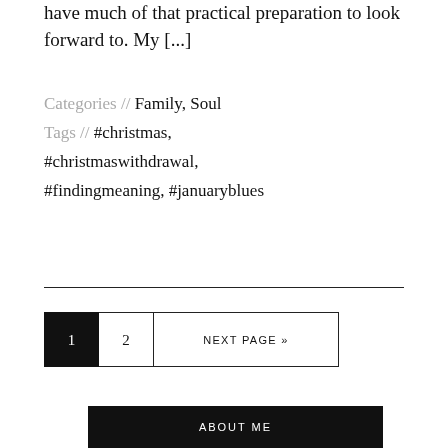have much of that practical preparation to look forward to. My [...]
Categories // Family, Soul
Tags // #christmas, #christmaswithdrawal, #findingmeaning, #januaryblues
1 (current page)
2
NEXT PAGE »
ABOUT ME